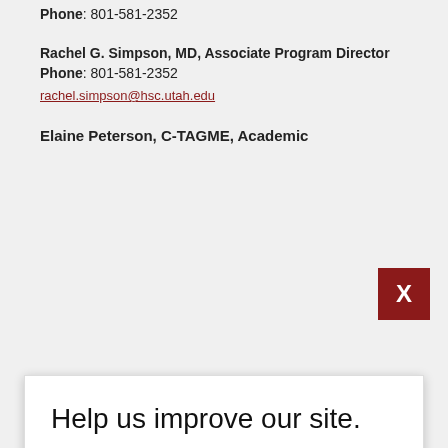Phone: 801-581-2352
Rachel G. Simpson, MD, Associate Program Director
Phone: 801-581-2352
rachel.simpson@hsc.utah.edu
Elaine Peterson, C-TAGME, Academic
[Figure (screenshot): Modal dialog overlay with close button (X in dark red). Title: Help us improve our site. Subtitle: We would love your feedback. Body: Would you help us by taking a 5 minute survey today about your visit to our website? Two buttons: No, Thanks and Yes, Take Survey.]